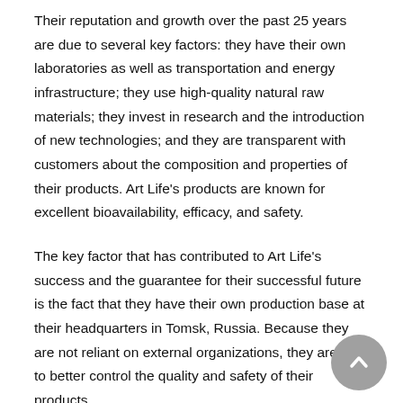Their reputation and growth over the past 25 years are due to several key factors: they have their own laboratories as well as transportation and energy infrastructure; they use high-quality natural raw materials; they invest in research and the introduction of new technologies; and they are transparent with customers about the composition and properties of their products. Art Life's products are known for excellent bioavailability, efficacy, and safety.
The key factor that has contributed to Art Life's success and the guarantee for their successful future is the fact that they have their own production base at their headquarters in Tomsk, Russia. Because they are not reliant on external organizations, they are able to better control the quality and safety of their products.